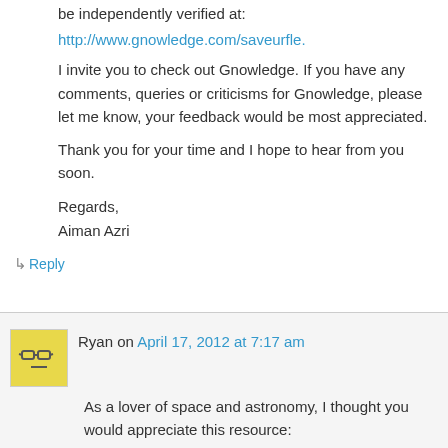be independently verified at:
http://www.gnowledge.com/saveurfle.
I invite you to check out Gnowledge. If you have any comments, queries or criticisms for Gnowledge, please let me know, your feedback would be most appreciated.
Thank you for your time and I hope to hear from you soon.
Regards,
Aiman Azri
↳ Reply
Ryan on April 17, 2012 at 7:17 am
As a lover of space and astronomy, I thought you would appreciate this resource:
http://www.numbersleuth.org/universe/
Would probably be a fun teaching tool too:)
↳ Reply